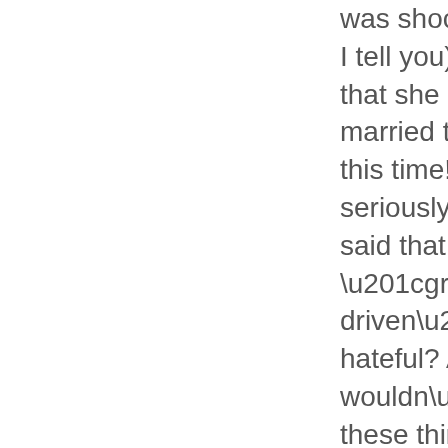was shocked (shocked I tell you) to find out that she had been married to a racist all this time! Now seriously, what have I said that was “grudge-driven” or hateful? And why wouldn’t I say these things to black people that I know? am commanded to speak the truth in love to